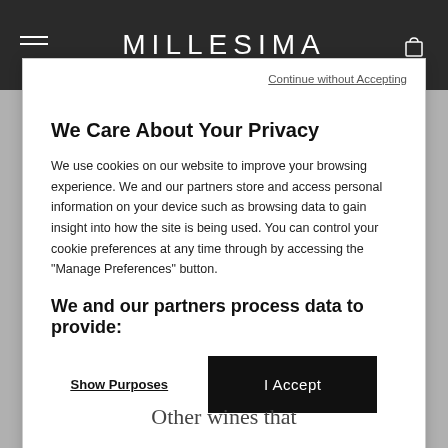MILLESIMA
Continue without Accepting
We Care About Your Privacy
We use cookies on our website to improve your browsing experience. We and our partners store and access personal information on your device such as browsing data to gain insight into how the site is being used. You can control your cookie preferences at any time through by accessing the "Manage Preferences" button.
We and our partners process data to provide:
Show Purposes
I Accept
Other wines that